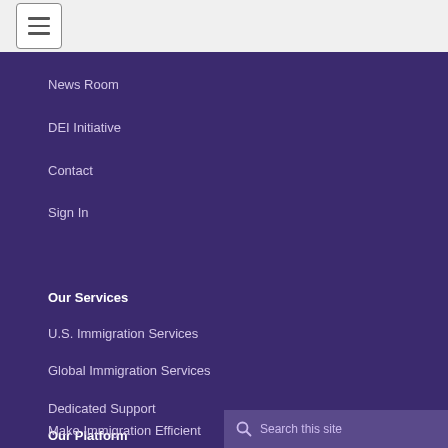[Figure (other): Hamburger menu icon button in top-left corner]
News Room
DEI Initiative
Contact
Sign In
Our Services
U.S. Immigration Services
Global Immigration Services
Dedicated Support
Our Platform
Make Immigration Efficient
Search this site